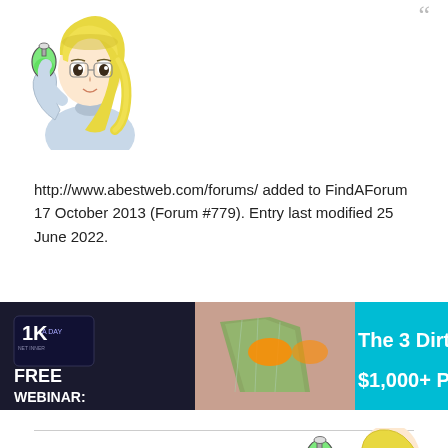[Figure (illustration): Anime-style cartoon girl with blonde hair holding a green flask/beaker, wearing a blue lab coat. Positioned top-left of page.]
"
http://www.abestweb.com/forums/ added to FindAForum 17 October 2013 (Forum #779). Entry last modified 25 June 2022.
[Figure (screenshot): Advertisement banner: '1K A DAY FREE WEBINAR:' on left with a card showing '1K A DAY NET INNER', center shows a woman with orange sunglasses holding dollar bills, right side shows 'The 3 Dirty Se... $1,000+ P...' text on cyan/teal background.]
[Figure (illustration): Partial anime-style cartoon girl illustration (same character as top), visible at bottom-right, cropped.]